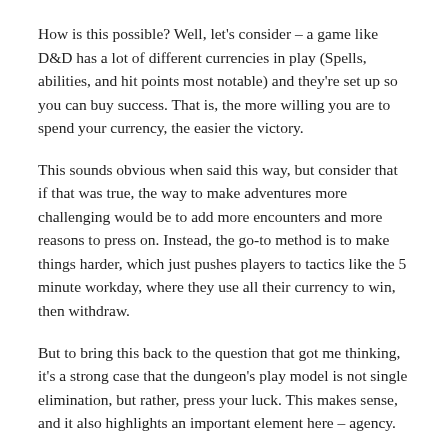How is this possible? Well, let's consider – a game like D&D has a lot of different currencies in play (Spells, abilities, and hit points most notable) and they're set up so you can buy success. That is, the more willing you are to spend your currency, the easier the victory.
This sounds obvious when said this way, but consider that if that was true, the way to make adventures more challenging would be to add more encounters and more reasons to press on. Instead, the go-to method is to make things harder, which just pushes players to tactics like the 5 minute workday, where they use all their currency to win, then withdraw.
But to bring this back to the question that got me thinking, it's a strong case that the dungeon's play model is not single elimination, but rather, press your luck. This makes sense, and it also highlights an important element here – agency.